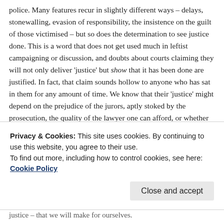police. Many features recur in slightly different ways – delays, stonewalling, evasion of responsibility, the insistence on the guilt of those victimised – but so does the determination to see justice done. This is a word that does not get used much in leftist campaigning or discussion, and doubts about courts claiming they will not only deliver 'justice' but show that it has been done are justified. In fact, that claim sounds hollow to anyone who has sat in them for any amount of time. We know that their 'justice' might depend on the prejudice of the jurors, aptly stoked by the prosecution, the quality of the lawyer one can afford, or whether the judge had a dodgy sandwich for lunch. That is to say, we know their claims to justice are contingent, human and personal. The encouragement,
justice – that we will make for ourselves.
Privacy & Cookies: This site uses cookies. By continuing to use this website, you agree to their use.
To find out more, including how to control cookies, see here: Cookie Policy